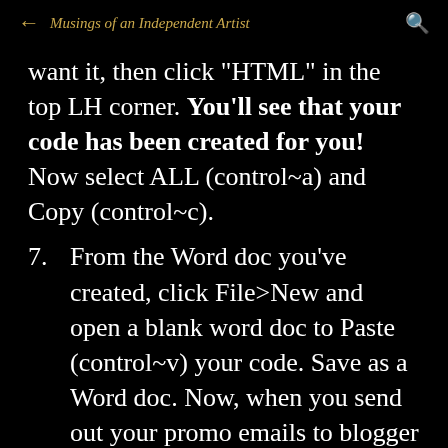← Musings of an Independent Artist 🔍
want it, then click "HTML" in the top LH corner. You'll see that your code has been created for you! Now select ALL (control~a) and Copy (control~c).
7. From the Word doc you've created, click File>New and open a blank word doc to Paste (control~v) your code. Save as a Word doc. Now, when you send out your promo emails to blogger friends, just attach your new Word doc filled with the HTML code for your perfect promo post.